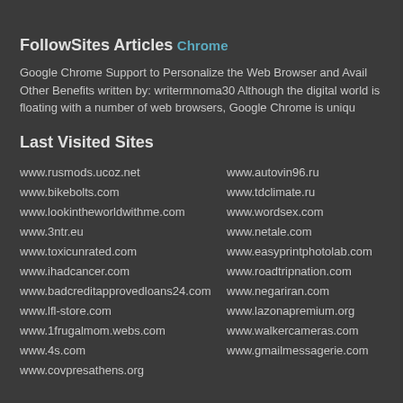FollowSites Articles
Chrome
Google Chrome Support to Personalize the Web Browser and Avail Other Benefits written by: writermnoma30 Although the digital world is floating with a number of web browsers, Google Chrome is uniqu
Last Visited Sites
www.rusmods.ucoz.net
www.autovin96.ru
www.bikebolts.com
www.tdclimate.ru
www.lookintheworldwithme.com
www.wordsex.com
www.3ntr.eu
www.netale.com
www.toxicunrated.com
www.easyprintphotolab.com
www.ihadcancer.com
www.roadtripnation.com
www.badcreditapprovedloans24.com
www.negariran.com
www.lfl-store.com
www.lazonapremium.org
www.1frugalmom.webs.com
www.walkercameras.com
www.4s.com
www.gmailmessagerie.com
www.covpresathens.org